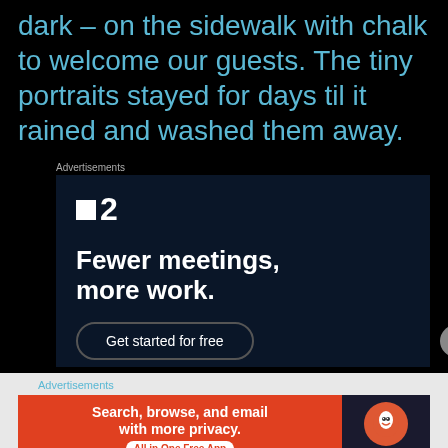dark – on the sidewalk with chalk to welcome our guests. The tiny portraits stayed for days til it rained and washed them away.
Advertisements
[Figure (infographic): Advertisement for a project management tool showing logo '■2' and headline 'Fewer meetings, more work.' with a 'Get started for free' button on dark navy background]
Advertisements
[Figure (infographic): DuckDuckGo advertisement banner with orange background showing 'Search, browse, and email with more privacy. All in One Free App' and DuckDuckGo logo on dark background]